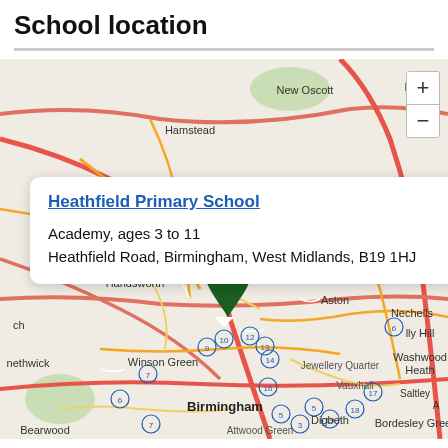School location
[Figure (map): OpenStreetMap showing Birmingham area with a marker for Heathfield Primary School near Handsworth/Aston. A popup shows school name, type, age range and address. Map labels include: New Oscott, Boulton, Hamstead, M5, Erdington, Handsworth, Aston, Nechells, Smethwick, Winson Green, Washwood Heath, Jewellery Quarter, Vauxhall, Saltley, Birmingham, Bearwood, Digbeth, Bordesley Green, Attwood Green, Chad Valley, Small Heath.]
Heathfield Primary School
Academy, ages 3 to 11
Heathfield Road, Birmingham, West Midlands, B19 1HJ